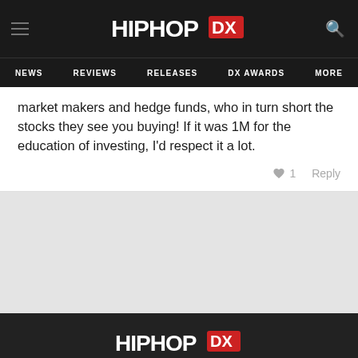HIPHOP DX — NEWS | REVIEWS | RELEASES | DX AWARDS | MORE
market makers and hedge funds, who in turn short the stocks they see you buying! If it was 1M for the education of investing, I'd respect it a lot.
Copyright © 2022 HipHopDX
All Rights Reserved